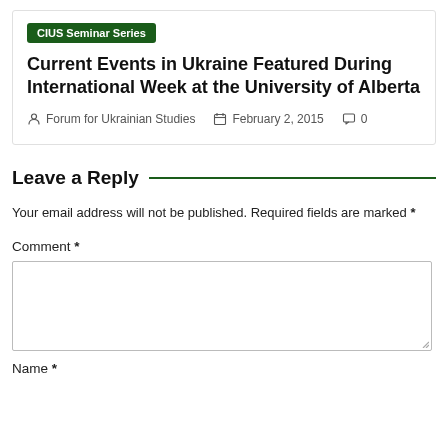CIUS Seminar Series
Current Events in Ukraine Featured During International Week at the University of Alberta
Forum for Ukrainian Studies   February 2, 2015   0
Leave a Reply
Your email address will not be published. Required fields are marked *
Comment *
Name *